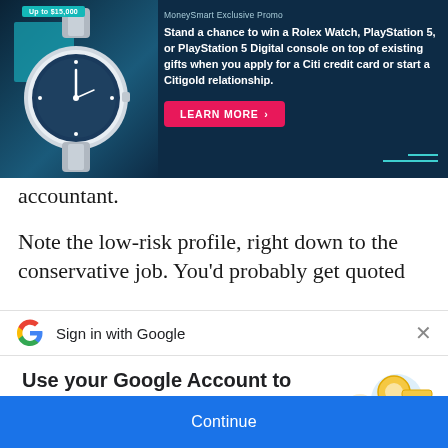[Figure (infographic): MoneySmart Exclusive Promo advertisement banner with dark navy background, a Rolex watch image on the left, and promotional text about winning a Rolex Watch, PlayStation 5, or PlayStation 5 Digital console. Includes a pink 'LEARN MORE' button.]
accountant.
Note the low-risk profile, right down to the conservative job. You'd probably get quoted
[Figure (infographic): Google Sign-in bar with Google G logo and text 'Sign in with Google', with X close button]
Use your Google Account to sign in to MoneySmart
No more passwords to remember.
Signing in is fast, simple and secure.
[Figure (illustration): Google key illustration with colorful circles and a golden key]
Continue